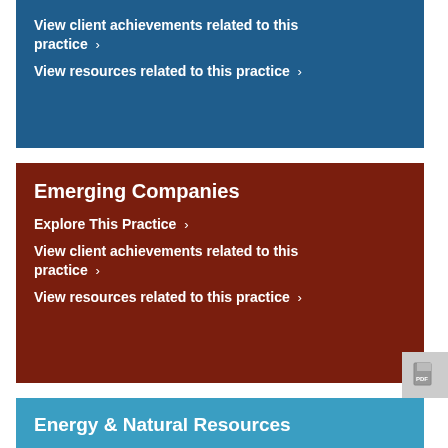View client achievements related to this practice >
View resources related to this practice >
Emerging Companies
Explore This Practice >
View client achievements related to this practice >
View resources related to this practice >
Energy & Natural Resources